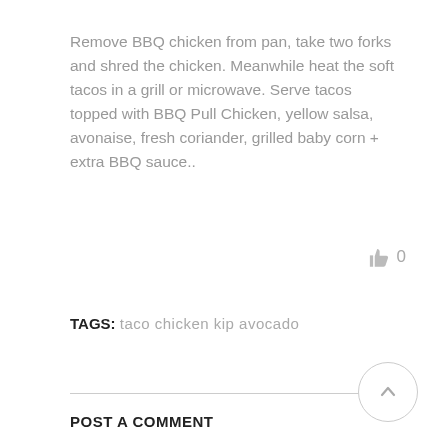Remove BBQ chicken from pan, take two forks and shred the chicken. Meanwhile heat the soft tacos in a grill or microwave. Serve tacos topped with BBQ Pull Chicken, yellow salsa, avonaise, fresh coriander, grilled baby corn + extra BBQ sauce..
[Figure (illustration): Thumbs up icon with count 0]
TAGS: taco chicken kip avocado
[Figure (illustration): Circular scroll-to-top button with upward arrow]
POST A COMMENT